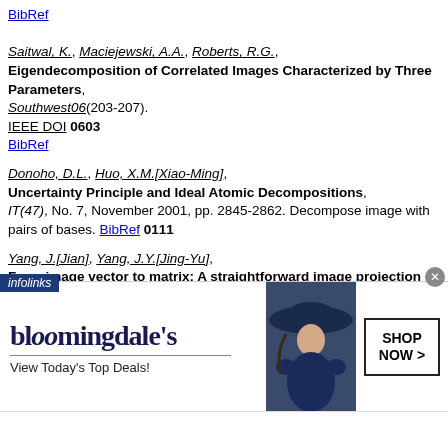BibRef

Saitwal, K., Maciejewski, A.A., Roberts, R.G., Eigendecomposition of Correlated Images Characterized by Three Parameters, Southwest06(203-207). IEEE DOI 0603 BibRef
Donoho, D.L., Huo, X.M.[Xiao-Ming], Uncertainty Principle and Ideal Atomic Decompositions, IT(47), No. 7, November 2001, pp. 2845-2862. Decompose image with pairs of bases. BibRef 0111
Yang, J.[Jian], Yang, J.Y.[Jing-Yu], From image vector to matrix: A straightforward image projection technique: IMPCA vs. PCA, PR(35), No. 9, September 2002, pp. 1997-1999. Elsevier DOI 0206
[Figure (other): Bloomingdale's advertisement banner with logo, tagline 'View Today's Top Deals!', photo of woman in hat, and 'SHOP NOW >' button. Infolinks bar overlay at top-left.]